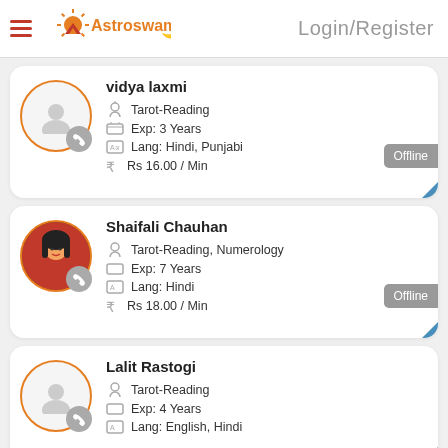Login/Register
[Figure (logo): Astroswami logo with sun and crescent, orange hamburger menu icon on left]
vidya laxmi
Tarot-Reading
Exp: 3 Years
Lang: Hindi, Punjabi
Rs 16.00 / Min
Offline
Shaifali Chauhan
Tarot-Reading, Numerology
Exp: 7 Years
Lang: Hindi
Rs 18.00 / Min
Offline
Lalit Rastogi
Tarot-Reading
Exp: 4 Years
Lang: English, Hindi